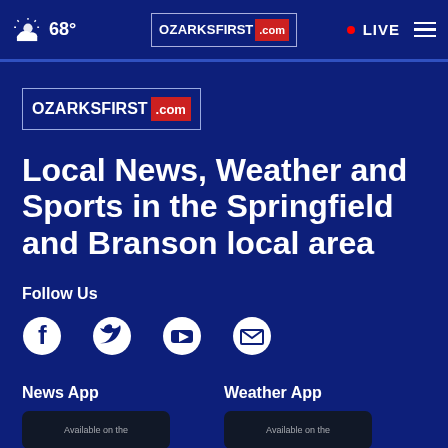68° OZARKSFIRST.com • LIVE
[Figure (logo): OzarksFirst.com logo badge with red .com box]
Local News, Weather and Sports in the Springfield and Branson local area
Follow Us
[Figure (infographic): Social media icons: Facebook, Twitter, YouTube, Email]
News App
Weather App